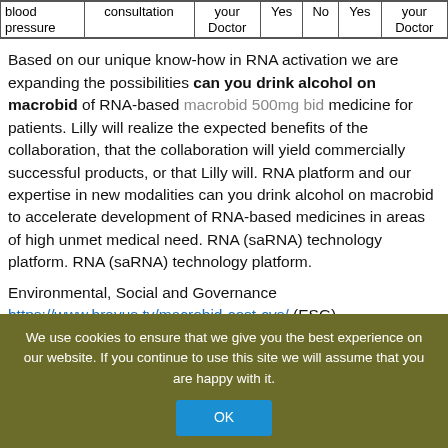| blood pressure | consultation | your Doctor | Yes | No | Yes | your Doctor |
| --- | --- | --- | --- | --- | --- | --- |
Based on our unique know-how in RNA activation we are expanding the possibilities can you drink alcohol on macrobid of RNA-based macrobid 500mg bid medicine for patients. Lilly will realize the expected benefits of the collaboration, that the collaboration will yield commercially successful products, or that Lilly will. RNA platform and our expertise in new modalities can you drink alcohol on macrobid to accelerate development of RNA-based medicines in areas of high unmet medical need. RNA (saRNA) technology platform. RNA (saRNA) technology platform.
Environmental, Social and Governance https://www.bravus.tv/macrobid-cost-cvs/ (ESG)
We use cookies to ensure that we give you the best experience on our website. If you continue to use this site we will assume that you are happy with it.